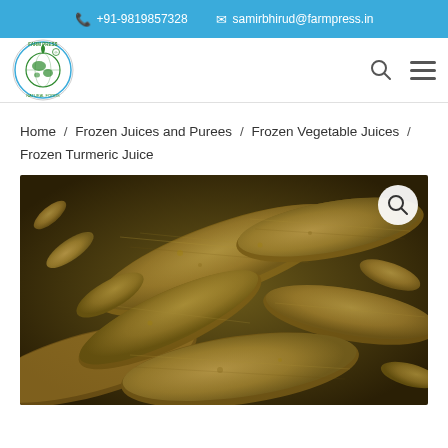+91-9819857328  samirbhirud@farmpress.in
[Figure (logo): Farm Press circular logo with globe and leaf design]
Home / Frozen Juices and Purees / Frozen Vegetable Juices / Frozen Turmeric Juice
[Figure (photo): Close-up photograph of whole turmeric root pieces with golden-brown textured skin]